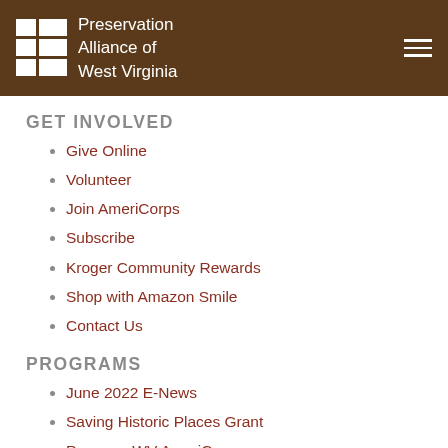Preservation Alliance of West Virginia
GET INVOLVED
Give Online
Volunteer
Join AmeriCorps
Subscribe
Kroger Community Rewards
Shop with Amazon Smile
Contact Us
PROGRAMS
June 2022 E-News
Saving Historic Places Grant
Preserve WV AmeriCorps
Advocacy